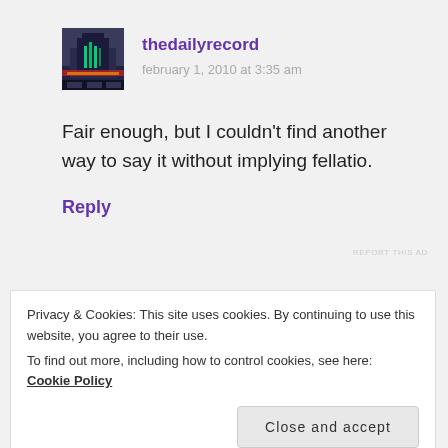[Figure (photo): Avatar/profile image of a theater or cinema building with neon signs at night]
thedailyrecord
february 1, 2010 at 3:35 am
Fair enough, but I couldn't find another way to say it without implying fellatio.
Reply
REPORT THIS AD
Privacy & Cookies: This site uses cookies. By continuing to use this website, you agree to their use.
To find out more, including how to control cookies, see here: Cookie Policy
Close and accept